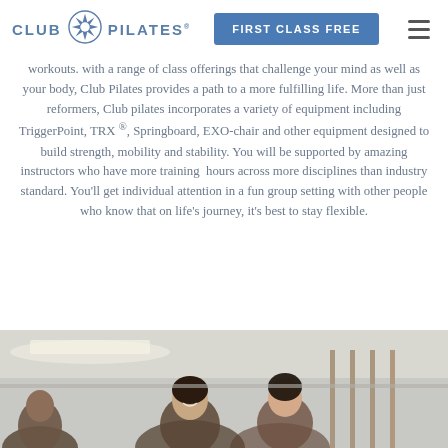CLUB PILATES | FIRST CLASS FREE
workouts. with a range of class offerings that challenge your mind as well as your body, Club Pilates provides a path to a more fulfilling life. More than just reformers, Club pilates incorporates a variety of equipment including TriggerPoint, TRX ®, Springboard, EXO-chair and other equipment designed to build strength, mobility and stability. You will be supported by amazing instructors who have more training hours across more disciplines than industry standard. You'll get individual attention in a fun group setting with other people who know that on life's journey, it's best to stay flexible.
[Figure (photo): Photo of people in a Club Pilates studio, smiling, with Pilates reformer equipment in background. Bright modern studio interior with white walls and ceiling lights.]